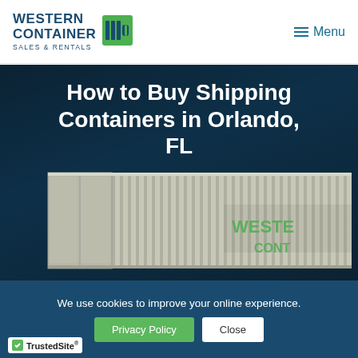[Figure (logo): Western Container Sales & Rentals logo with green container icon]
Menu
How to Buy Shipping Containers in Orlando, FL
[Figure (photo): Gray shipping container with Western Container branding visible on the side]
We use cookies to improve your online experience.
Privacy Policy
Close
[Figure (logo): TrustedSite badge with green checkmark]